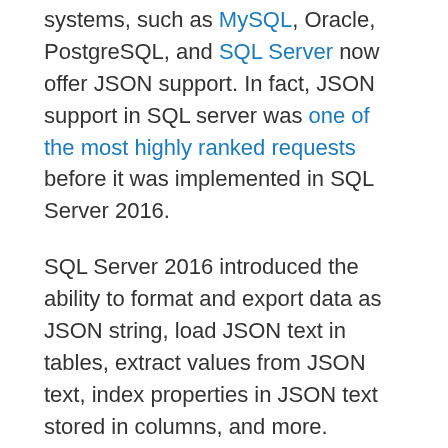systems, such as MySQL, Oracle, PostgreSQL, and SQL Server now offer JSON support. In fact, JSON support in SQL server was one of the most highly ranked requests before it was implemented in SQL Server 2016.
SQL Server 2016 introduced the ability to format and export data as JSON string, load JSON text in tables, extract values from JSON text, index properties in JSON text stored in columns, and more.
One of the JSON features is the FOR JSON clause that can be used to export data from SQL Server as JSON, or format query results as JSON.